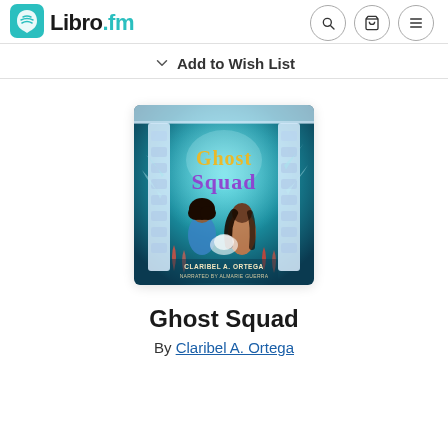Libro.fm
Add to Wish List
[Figure (illustration): Book cover for Ghost Squad by Claribel A. Ortega. Features two young girls in an underwater magical setting with decorative arch columns, coral, and glowing light. Title 'Ghost Squad' in gold and purple letters, author name at bottom.]
Ghost Squad
By Claribel A. Ortega